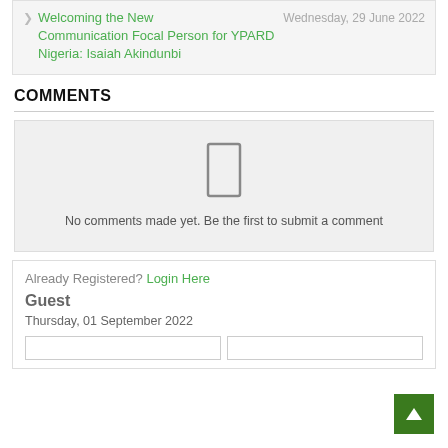Welcoming the New Communication Focal Person for YPARD Nigeria: Isaiah Akindunbi — Wednesday, 29 June 2022
COMMENTS
No comments made yet. Be the first to submit a comment
Already Registered? Login Here
Guest
Thursday, 01 September 2022